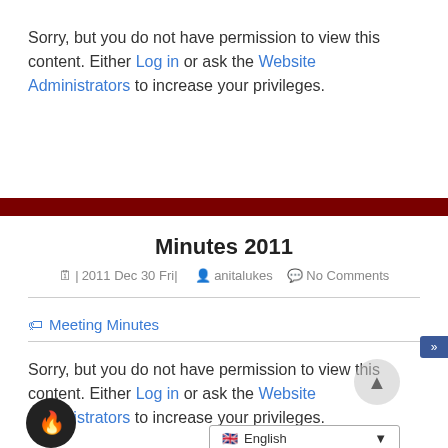Sorry, but you do not have permission to view this content. Either Log in or ask the Website Administrators to increase your privileges.
Minutes 2011
|2011 Dec 30 Fri|   anitalukes   No Comments
Meeting Minutes
Sorry, but you do not have permission to view this content. Either Log in or ask the Website Administrators to increase your privileges.